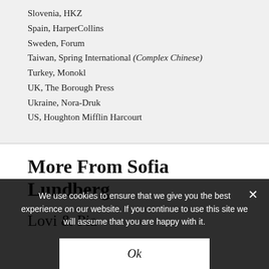Slovenia, HKZ
Spain, HarperCollins
Sweden, Forum
Taiwan, Spring International (Complex Chinese)
Turkey, Monokl
UK, The Borough Press
Ukraine, Nora-Druk
US, Houghton Mifflin Harcourt
More From Sofia Lundberg
Lovi & Pia
We use cookies to ensure that we give you the best experience on our website. If you continue to use this site we will assume that you are happy with it.